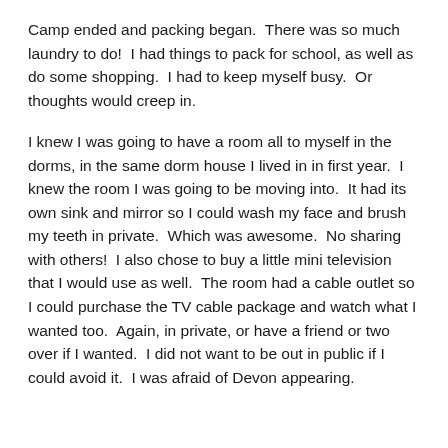Camp ended and packing began.  There was so much laundry to do!  I had things to pack for school, as well as do some shopping.  I had to keep myself busy.  Or thoughts would creep in.
I knew I was going to have a room all to myself in the dorms, in the same dorm house I lived in in first year.  I knew the room I was going to be moving into.  It had its own sink and mirror so I could wash my face and brush my teeth in private.  Which was awesome.  No sharing with others!  I also chose to buy a little mini television that I would use as well.  The room had a cable outlet so I could purchase the TV cable package and watch what I wanted too.  Again, in private, or have a friend or two over if I wanted.  I did not want to be out in public if I could avoid it.  I was afraid of Devon appearing.